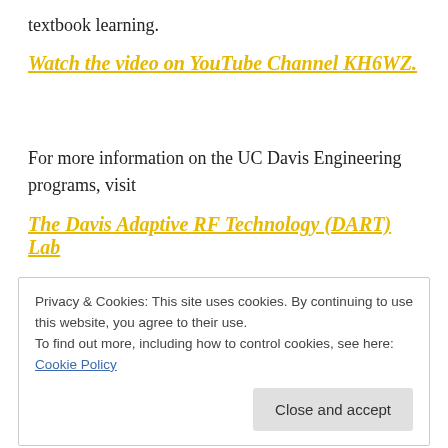textbook learning.
Watch the video on YouTube Channel KH6WZ.
For more information on the UC Davis Engineering programs, visit
The Davis Adaptive RF Technology (DART) Lab
Privacy & Cookies: This site uses cookies. By continuing to use this website, you agree to their use.
To find out more, including how to control cookies, see here: Cookie Policy
Close and accept